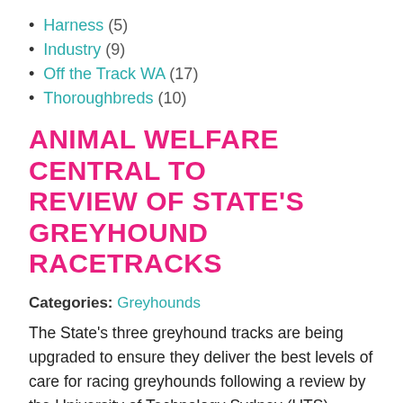Harness (5)
Industry (9)
Off the Track WA (17)
Thoroughbreds (10)
ANIMAL WELFARE CENTRAL TO REVIEW OF STATE'S GREYHOUND RACETRACKS
Categories: Greyhounds
The State's three greyhound tracks are being upgraded to ensure they deliver the best levels of care for racing greyhounds following a review by the University of Technology Sydney (UTS).
As part of its commitment to provide the highest